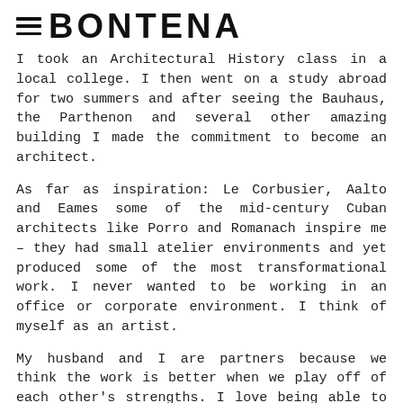≡ BONTENA
I took an Architectural History class in a local college. I then went on a study abroad for two summers and after seeing the Bauhaus, the Parthenon and several other amazing building I made the commitment to become an architect.
As far as inspiration: Le Corbusier, Aalto and Eames some of the mid-century Cuban architects like Porro and Romanach inspire me – they had small atelier environments and yet produced some of the most transformational work. I never wanted to be working in an office or corporate environment. I think of myself as an artist.
My husband and I are partners because we think the work is better when we play off of each other's strengths. I love being able to work with someone whom I respect and trust – we share a lot in common but from different perspectives.